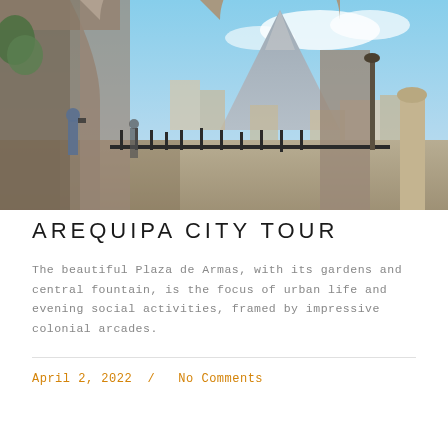[Figure (photo): Arequipa colonial arcades with stone arches in foreground, a volcano and city skyline visible in the background, tourists taking photos]
AREQUIPA CITY TOUR
The beautiful Plaza de Armas, with its gardens and central fountain, is the focus of urban life and evening social activities, framed by impressive colonial arcades.
April 2, 2022  /  No Comments